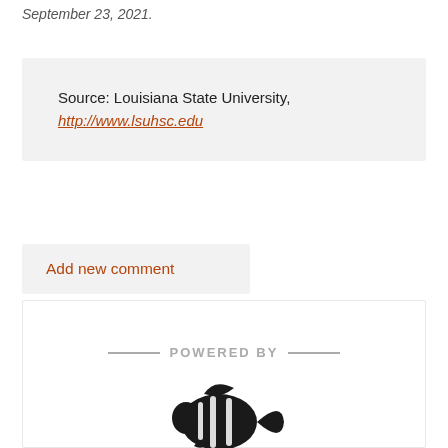September 23, 2021.
Source: Louisiana State University, http://www.lsuhsc.edu
Add new comment
[Figure (logo): Footer box with 'POWERED BY' text flanked by horizontal lines, and a black silhouette of a clownfish below.]